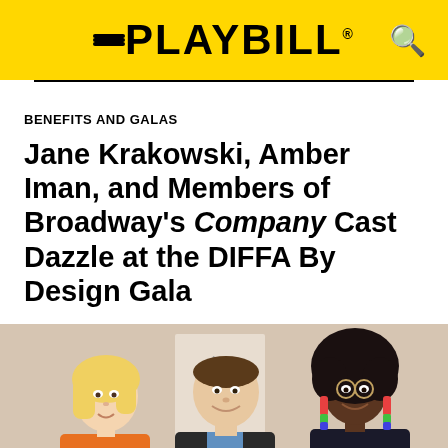PLAYBILL
BENEFITS AND GALAS
Jane Krakowski, Amber Iman, and Members of Broadway's Company Cast Dazzle at the DIFFA By Design Gala
[Figure (photo): Three people posed together at an event: a blonde woman on the left, a man in a dark suit in the center, and a woman with natural hair and colorful earrings on the right]